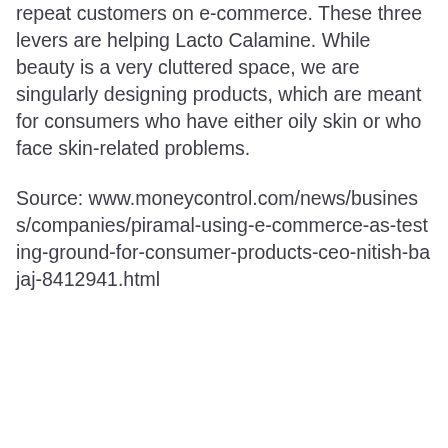repeat customers on e-commerce. These three levers are helping Lacto Calamine. While beauty is a very cluttered space, we are singularly designing products, which are meant for consumers who have either oily skin or who face skin-related problems.
Source: www.moneycontrol.com/news/business/companies/piramal-using-e-commerce-as-testing-ground-for-consumer-products-ceo-nitish-bajaj-8412941.html